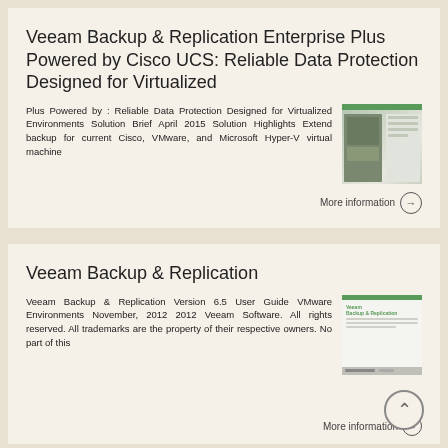Veeam Backup & Replication Enterprise Plus Powered by Cisco UCS: Reliable Data Protection Designed for Virtualized
Plus Powered by : Reliable Data Protection Designed for Virtualized Environments Solution Brief April 2015 Solution Highlights Extend backup for current Cisco, VMware, and Microsoft Hyper-V virtual machine
[Figure (other): Thumbnail image of a document cover with green stripe header and two-column layout]
More information →
Veeam Backup & Replication
Veeam Backup & Replication Version 6.5 User Guide VMware Environments November, 2012 2012 Veeam Software. All rights reserved. All trademarks are the property of their respective owners. No part of this
[Figure (other): Thumbnail image of Veeam Backup & Replication document cover with green stripe and white body]
More information →